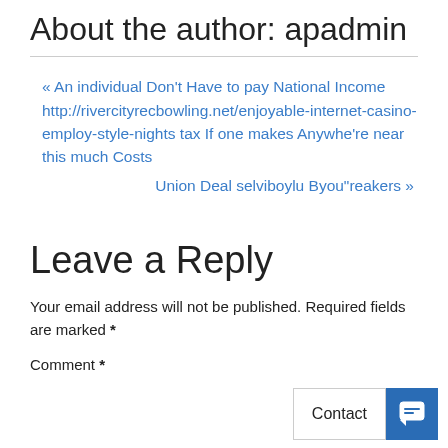About the author: apadmin
« An individual Don't Have to pay National Income http://rivercityrecbowling.net/enjoyable-internet-casino-employ-style-nights tax If one makes Anywhe're near this much Costs
Union Deal selviboylu Byou"reakers »
Leave a Reply
Your email address will not be published. Required fields are marked *
Comment *